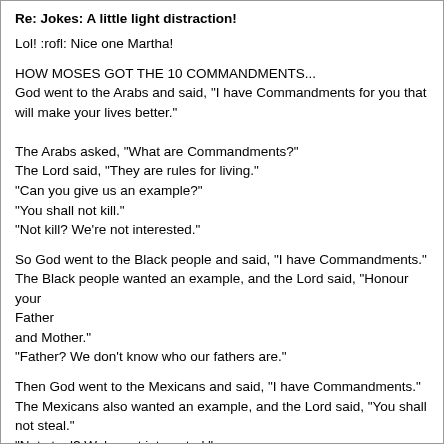Re: Jokes: A little light distraction!
Lol! :rofl: Nice one Martha!
HOW MOSES GOT THE 10 COMMANDMENTS...
God went to the Arabs and said, "I have Commandments for you that will make your lives better."

The Arabs asked, "What are Commandments?"
The Lord said, "They are rules for living."
"Can you give us an example?"
"You shall not kill."
"Not kill? We're not interested."
So God went to the Black people and said, "I have Commandments."
The Black people wanted an example, and the Lord said, "Honour your Father
and Mother."
"Father? We don't know who our fathers are."
Then God went to the Mexicans and said, "I have Commandments."
The Mexicans also wanted an example, and the Lord said, "You shall not steal."
"Not steal? We're not interested."
So God went to the French and said, "I have Commandments."
The French too wanted an example and the Lord said, "You shall not commit adultery."